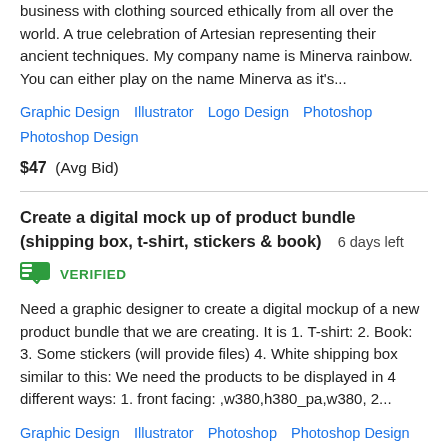business with clothing sourced ethically from all over the world. A true celebration of Artesian representing their ancient techniques. My company name is Minerva rainbow. You can either play on the name Minerva as it's...
Graphic Design   Illustrator   Logo Design   Photoshop   Photoshop Design
$47  (Avg Bid)
Create a digital mock up of product bundle (shipping box, t-shirt, stickers & book)  6 days left
VERIFIED
Need a graphic designer to create a digital mockup of a new product bundle that we are creating. It is 1. T-shirt: 2. Book: 3. Some stickers (will provide files) 4. White shipping box similar to this: We need the products to be displayed in 4 different ways: 1. front facing: ,w380,h380_pa,w380, 2...
Graphic Design   Illustrator   Photoshop   Photoshop Design   T-Shirts